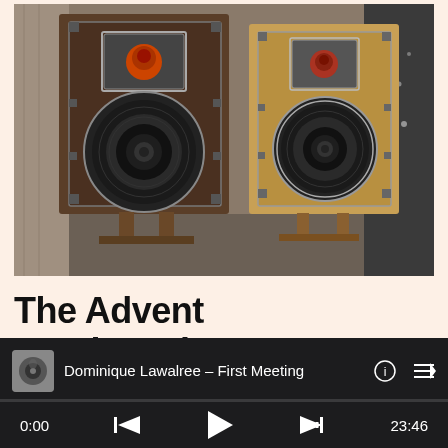[Figure (photo): Two vintage Advent loudspeakers standing on wooden stands in a room. The speakers have exposed woofers and tweeters mounted on wooden baffles. The left speaker has a dark walnut cabinet, the right has a lighter wood finish.]
The Advent Loudspeaker: Heavy, inexpensive, durable
Dominique Lawalree – First Meeting  0:00  23:46